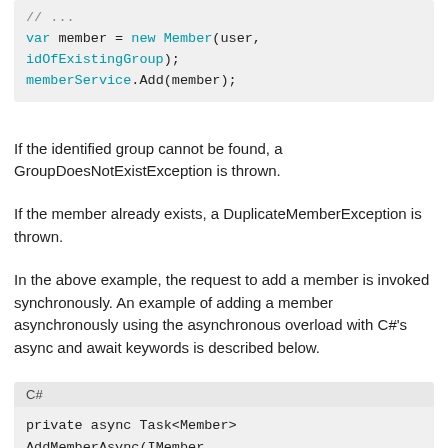// ...
var member = new Member(user, idOfExistingGroup);
memberService.Add(member);
If the identified group cannot be found, a GroupDoesNotExistException is thrown.
If the member already exists, a DuplicateMemberException is thrown.
In the above example, the request to add a member is invoked synchronously. An example of adding a member asynchronously using the asynchronous overload with C#'s async and await keywords is described below.
private async Task<Member> AddMemberAsync(IMember
    {
        GroupId idOfExistingGroup;
        Reference user;